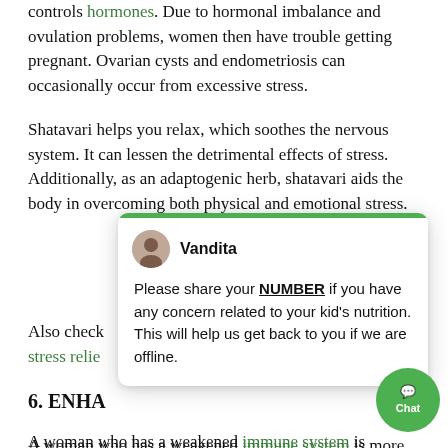controls hormones. Due to hormonal imbalance and ovulation problems, women then have trouble getting pregnant. Ovarian cysts and endometriosis can occasionally occur from excessive stress.
Shatavari helps you relax, which soothes the nervous system. It can lessen the detrimental effects of stress. Additionally, as an adaptogenic herb, shatavari aids the body in overcoming both physical and emotional stress.
Also check [stress relief link]
6. ENHA[NCES IMMUNITY]
A woman who has a weakened immune system is more likely to experience infertility and other health problems. Due to the ease with which diseases affect the reproductive system, it might make it more
[Figure (screenshot): Chat popup from Vandita. Text: 'Please share your NUMBER if you have any concern related to your kid's nutrition. This will help us get back to you if we are offline.' Green top bar, avatar, bold name 'Vandita'.]